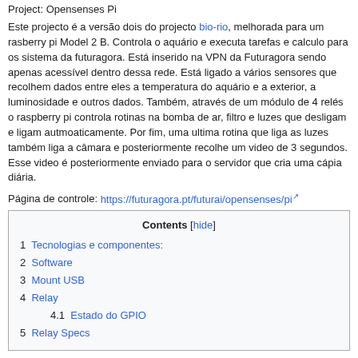Project: Opensenses Pi
Este projecto é a versão dois do projecto bio-rio, melhorada para um rasberry pi Model 2 B. Controla o aquário e executa tarefas e calculo para os sistema da futuragora. Está inserido na VPN da Futuragora sendo apenas acessível dentro dessa rede. Está ligado a vários sensores que recolhem dados entre eles a temperatura do aquário e a exterior, a luminosidade e outros dados. Também, através de um módulo de 4 relés o raspberry pi controla rotinas na bomba de ar, filtro e luzes que desligam e ligam autmoaticamente. Por fim, uma ultima rotina que liga as luzes também liga a câmara e posteriormente recolhe um video de 3 segundos. Esse video é posteriormente enviado para o servidor que cria uma cápia diária.
Página de controle: https://futuragora.pt/futurai/opensenses/pi
| Contents |
| --- |
| 1  Tecnologias e componentes: |
| 2  Software |
| 3  Mount USB |
| 4  Relay |
| 4.1  Estado do GPIO |
| 5  Relay Specs |